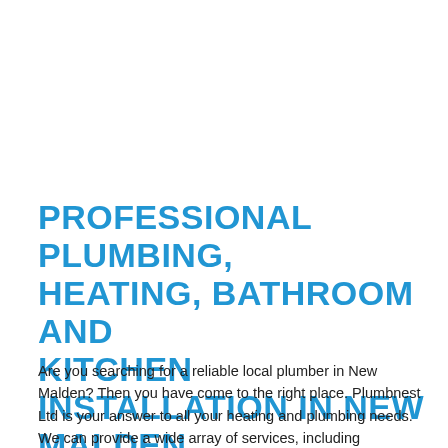PROFESSIONAL PLUMBING, HEATING, BATHROOM AND KITCHEN INSTALLATION IN NEW MALDEN
Are you searching for a reliable local plumber in New Malden? Then you have come to the right place. Plumbnest Ltd is your answer to all your heating and plumbing needs. We can provide a wide array of services, including plumbing, boiler installation, bathroom fitting, kitchen installation, and more.